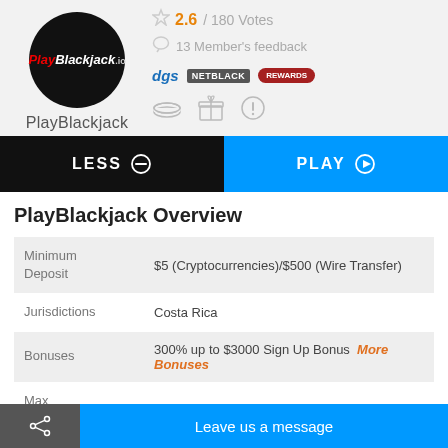[Figure (logo): PlayBlackjack circular logo — black circle with red italic 'Play' and white italic 'Blackjack' text]
PlayBlackjack
2.6 / 180 Votes
13 Member's feedback
[Figure (logo): Three small software/certification logos: dgs, NETENT-style logo, and a red oval logo]
[Figure (infographic): Three grey icons: chips/coins, gift box, and exclamation circle]
LESS
PLAY
PlayBlackjack Overview
|  |  |
| --- | --- |
| Minimum Deposit | $5 (Cryptocurrencies)/$500 (Wire Transfer) |
| Jurisdictions | Costa Rica |
| Bonuses | 300% up to $3000 Sign Up Bonus  More Bonuses |
| Max Cashout | $1,000 |
Leave us a message